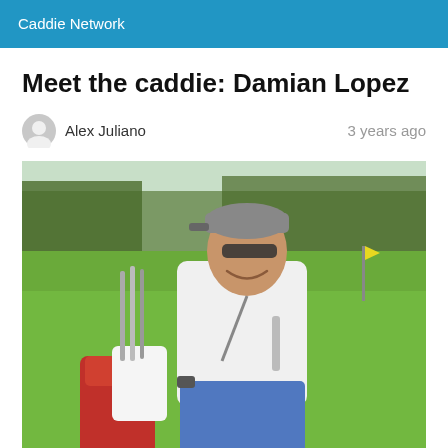Caddie Network
Meet the caddie: Damian Lopez
Alex Juliano    3 years ago
[Figure (photo): A man (Damian Lopez) wearing a white polo shirt, blue pants, sunglasses, and a gray cap, smiling on a golf course while standing next to a golf bag. Green fairway and trees visible in the background.]